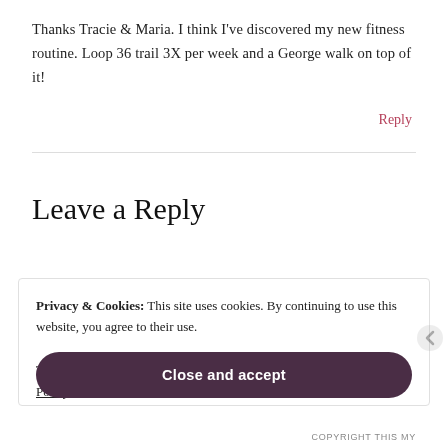Thanks Tracie & Maria. I think I've discovered my new fitness routine. Loop 36 trail 3X per week and a George walk on top of it!
Reply
Leave a Reply
Privacy & Cookies: This site uses cookies. By continuing to use this website, you agree to their use.
To find out more, including how to control cookies, see here: Cookie Policy
Close and accept
COPYRIGHT THIS MY